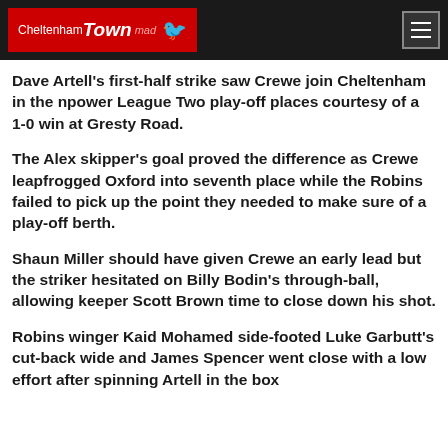Cheltenham Town mad
Dave Artell's first-half strike saw Crewe join Cheltenham in the npower League Two play-off places courtesy of a 1-0 win at Gresty Road.
The Alex skipper's goal proved the difference as Crewe leapfrogged Oxford into seventh place while the Robins failed to pick up the point they needed to make sure of a play-off berth.
Shaun Miller should have given Crewe an early lead but the striker hesitated on Billy Bodin's through-ball, allowing keeper Scott Brown time to close down his shot.
Robins winger Kaid Mohamed side-footed Luke Garbutt's cut-back wide and James Spencer went close with a low effort after spinning Artell in the box